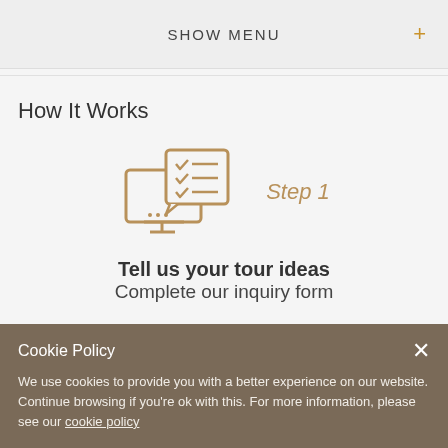SHOW MENU +
How It Works
[Figure (illustration): Icon of a desktop monitor with a checklist/speech bubble overlay, representing an inquiry form. Step 1 label next to it.]
Tell us your tour ideas
Complete our inquiry form
Cookie Policy
We use cookies to provide you with a better experience on our website. Continue browsing if you're ok with this. For more information, please see our cookie policy